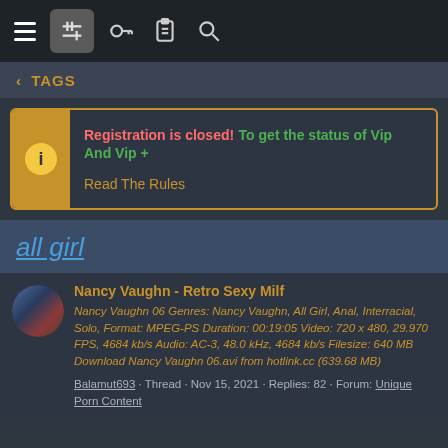Navigation bar with hamburger menu, settings icon, key icon, clipboard icon, search icon
< TAGS
Registration is closed! To get the status of Vip And Vip + Read The Rules
all girl
Nancy Vaughn - Retro Sexy Milf
Nancy Vaughn 06 Genres: Nancy Vaughn, All Girl, Anal, Interracial, Solo, Format: MPEG-PS Duration: 00:19:05 Video: 720 x 480, 29.970 FPS, 4684 kb/s Audio: AC-3, 48.0 kHz, 4684 kb/s Filesize: 640 MB Download Nancy Vaughn 06.avi from hotlink.cc (639.68 MB)
Balamut693 · Thread · Nov 15, 2021 · Replies: 82 · Forum: Unique Porn Content